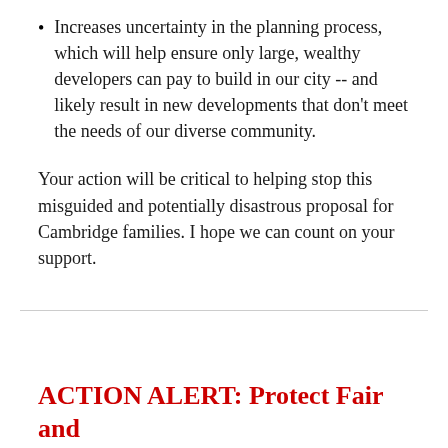Increases uncertainty in the planning process, which will help ensure only large, wealthy developers can pay to build in our city -- and likely result in new developments that don't meet the needs of our diverse community.
Your action will be critical to helping stop this misguided and potentially disastrous proposal for Cambridge families. I hope we can count on your support.
ACTION ALERT: Protect Fair and